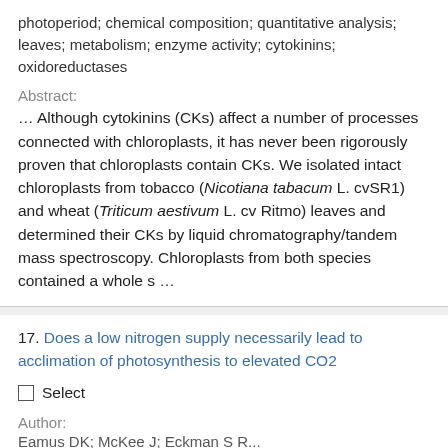photoperiod; chemical composition; quantitative analysis; leaves; metabolism; enzyme activity; cytokinins; oxidoreductases
Abstract:
… Although cytokinins (CKs) affect a number of processes connected with chloroplasts, it has never been rigorously proven that chloroplasts contain CKs. We isolated intact chloroplasts from tobacco (Nicotiana tabacum L. cvSR1) and wheat (Triticum aestivum L. cv Ritmo) leaves and determined their CKs by liquid chromatography/tandem mass spectroscopy. Chloroplasts from both species contained a whole s …
17. Does a low nitrogen supply necessarily lead to acclimation of photosynthesis to elevated CO2
Select
Author:
Eamus DK; McKee J; Eckman S R...